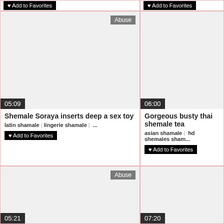♥ Add to Favorites
♥ Add to Favorites
[Figure (screenshot): Video thumbnail cell for 'Shemale Soraya inserts deep a sex toy', duration 05:09, with Abuse badge]
Shemale Soraya inserts deep a sex toy
latin shamale | lingerie shamale | ...
♥ Add to Favorites
[Figure (screenshot): Video thumbnail cell for 'Gorgeous busty thai shemale tea...', duration 06:00]
Gorgeous busty thai shemale tea
asian shamale | hd shemales sham...
♥ Add to Favorites
[Figure (screenshot): Video thumbnail cell, duration 05:21, with Abuse badge]
[Figure (screenshot): Video thumbnail cell, duration 07:20]